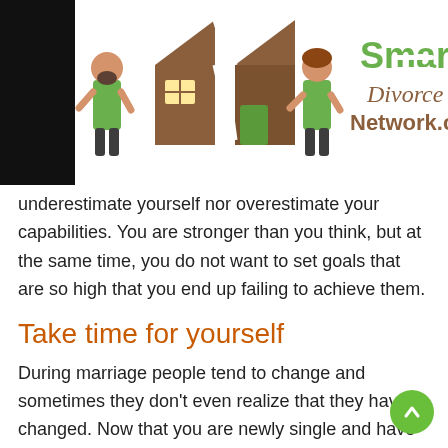[Figure (logo): Smart Divorce Network logo with cartoon figures of a man and woman on either side of a broken house, and green text reading 'Smart Divorce Network.com']
underestimate yourself nor overestimate your capabilities. You are stronger than you think, but at the same time, you do not want to set goals that are so high that you end up failing to achieve them.
Take time for yourself
During marriage people tend to change and sometimes they don’t even realize that they have changed. Now that you are newly single and have made plans and set goals for your future, it is time to rediscover who you are as a single person. Taking time for yourself includes getting your